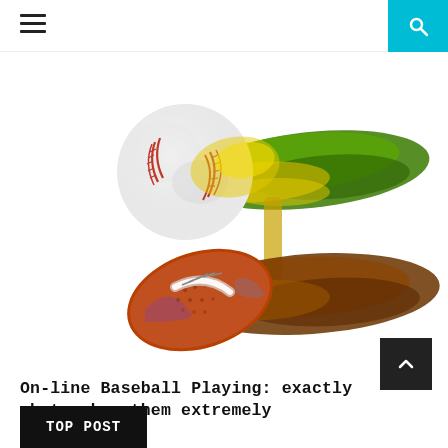Navigation header with hamburger menu and search icon
[Figure (illustration): Sports illustration showing a baseball and an American football, each with colorful paint brush strokes behind them — green and yellow for the baseball, brown and orange for the football — on a white background.]
On-line Baseball Playing: exactly what makes them extremely lucrative?
TOP POST